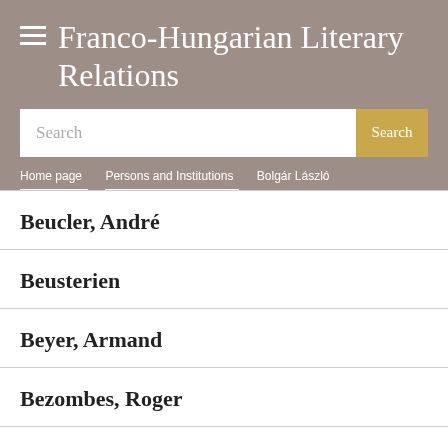Franco-Hungarian Literary Relations
Search
Home page / Persons and Institutions / Bolgár László
Beucler, André
Beusterien
Beyer, Armand
Bezombes, Roger